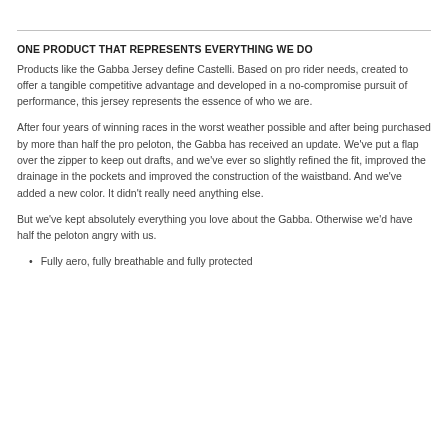ONE PRODUCT THAT REPRESENTS EVERYTHING WE DO
Products like the Gabba Jersey define Castelli. Based on pro rider needs, created to offer a tangible competitive advantage and developed in a no-compromise pursuit of performance, this jersey represents the essence of who we are.
After four years of winning races in the worst weather possible and after being purchased by more than half the pro peloton, the Gabba has received an update. We've put a flap over the zipper to keep out drafts, and we've ever so slightly refined the fit, improved the drainage in the pockets and improved the construction of the waistband. And we've added a new color. It didn't really need anything else.
But we've kept absolutely everything you love about the Gabba. Otherwise we'd have half the peloton angry with us.
Fully aero, fully breathable and fully protected